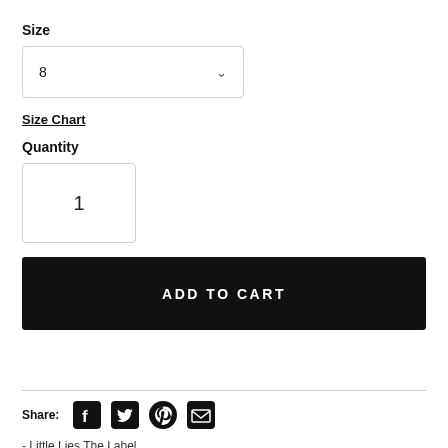Size
[Figure (screenshot): Dropdown selector showing value '8' with a chevron arrow, bordered box]
Size Chart
Quantity
[Figure (screenshot): Quantity input box showing value '1']
[Figure (screenshot): Black 'ADD TO CART' button]
Share:
[Figure (infographic): Social share icons: Facebook, Twitter, Pinterest, Email]
- Little Lies The Label